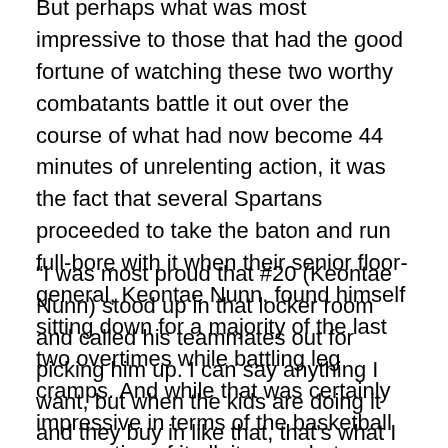But perhaps what was most impressive to those that had the good fortune of watching these two worthy combatants battle it out over the course of what had now become 44 minutes of unrelenting action, it was the fact that several Spartans proceeded to take the baton and run full-bore with it when their senior floor-general, Keontae Nunn, found himself sitting down for a majority of the last two overtimes while battling leg cramps. And while that was certainly impressive in terms of the basketball perspective of it all, it was what happened in the locker room after the game that stood out above all else to Musselman.
“I was most proud that #20 (Keontae Nunn) stood up in that locker room and called his teammates out for picking him up. I can say anything I want, but when the kids are doing it and they buy in like that, that’s what I want,” Musselman proudly stated.